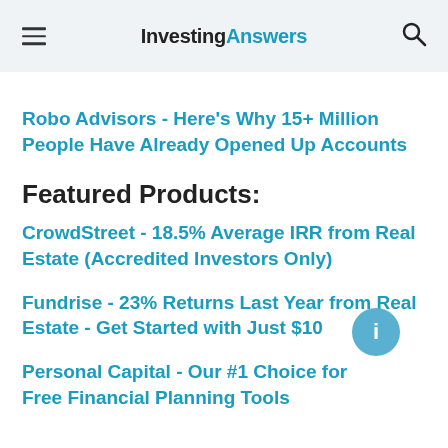InvestingAnswers
Robo Advisors - Here's Why 15+ Million People Have Already Opened Up Accounts
Featured Products:
CrowdStreet - 18.5% Average IRR from Real Estate (Accredited Investors Only)
Fundrise - 23% Returns Last Year from Real Estate - Get Started with Just $10
Personal Capital - Our #1 Choice for Free Financial Planning Tools